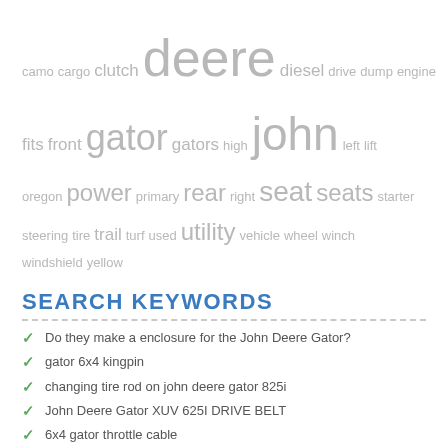[Figure (infographic): Word cloud featuring keywords related to John Deere Gator parts and accessories. Words vary in size based on frequency/importance. Words include: camo, cargo, clutch, deere, diesel, drive, dump, engine, fits, front, gator, gators, high, john, left, lift, oregon, power, primary, rear, right, seat, seats, starter, steering, tire, trail, turf, used, utility, vehicle, wheel, winch, windshield, yellow]
SEARCH KEYWORDS
Do they make a enclosure for the John Deere Gator?
gator 6x4 kingpin
changing tire rod on john deere gator 825i
John Deere Gator XUV 625I DRIVE BELT
6x4 gator throttle cable
john deere gator transmission oil change
kawasaki engine for 1998 6x4 gator
gator turf transaxle
kawasaki fj400d voltage regulator
jd gate voltage regulator